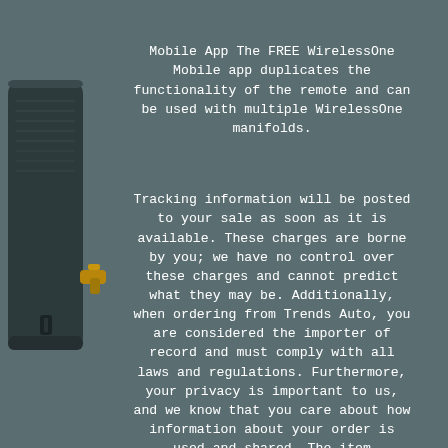[Figure (photo): Photo of a black automotive air compressor/manifold device with a gold fitting visible on the right side, shown against the grey background on the left edge of the page.]
Mobile App The FREE WirelessOne Mobile app duplicates the functionality of the remote and can be used with multiple WirelessOne manifolds.

Tracking information will be posted to your sale as soon as it is available. These charges are borne by you; we have no control over these charges and cannot predict what they may be. Additionally, when ordering from Trends Auto, you are considered the importer of record and must comply with all laws and regulations. Furthermore, your privacy is important to us, and we know that you care about how information about your order is used and shared. The item "Firestone Rear Air Helper Spring & Air Lift Compressor Kit for Toyota Tundra TRD" is in sale since Wednesday, March 29, 2017.